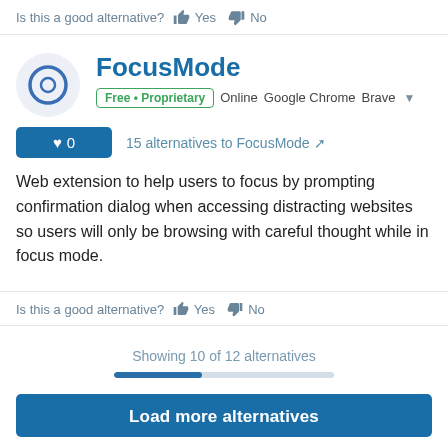Is this a good alternative? 👍 Yes 👎 No
FocusMode
Free • Proprietary  Online  Google Chrome  Brave
♥ 0   15 alternatives to FocusMode
Web extension to help users to focus by prompting confirmation dialog when accessing distracting websites so users will only be browsing with careful thought while in focus mode.
Is this a good alternative? 👍 Yes 👎 No
Showing 10 of 12 alternatives
Load more alternatives